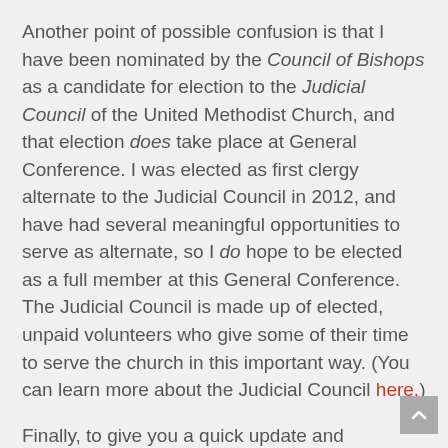Another point of possible confusion is that I have been nominated by the Council of Bishops as a candidate for election to the Judicial Council of the United Methodist Church, and that election does take place at General Conference. I was elected as first clergy alternate to the Judicial Council in 2012, and have had several meaningful opportunities to serve as alternate, so I do hope to be elected as a full member at this General Conference. The Judicial Council is made up of elected, unpaid volunteers who give some of their time to serve the church in this important way. (You can learn more about the Judicial Council here.)
Finally, to give you a quick update and